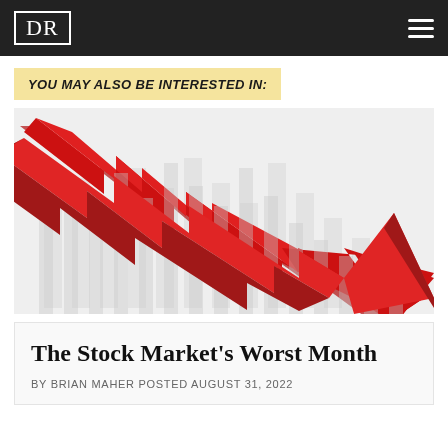DR
YOU MAY ALSO BE INTERESTED IN:
[Figure (illustration): A 3D red zigzag downward-trending arrow chart icon on a light grey background with faint bar chart marks, symbolizing stock market decline.]
The Stock Market’s Worst Month
BY BRIAN MAHER POSTED AUGUST 31, 2022